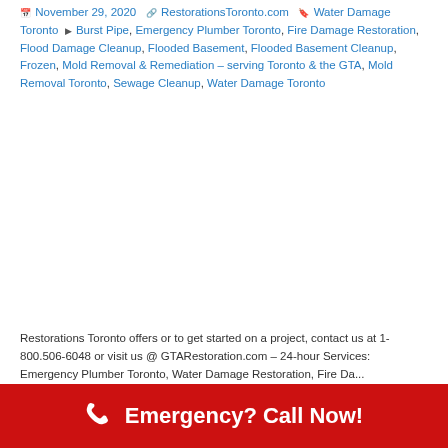November 29, 2020  RestorationsT oronto.com  Water Damage Toronto  Burst Pipe, Emergency Plumber Toronto, Fire Damage Restoration, Flood Damage Cleanup, Flooded Basement, Flooded Basement Cleanup, Frozen, Mold Removal & Remediation – serving Toronto & the GTA, Mold Removal Toronto, Sewage Cleanup, Water Damage Toronto
Restorations Toronto offers or to get started on a project, contact us at 1-800.506-6048 or visit us @ GTARestoration.com – 24-hour Services: Emergency Plumber Toronto, Water Damage Restoration, Fire Da...
Emergency? Call Now!